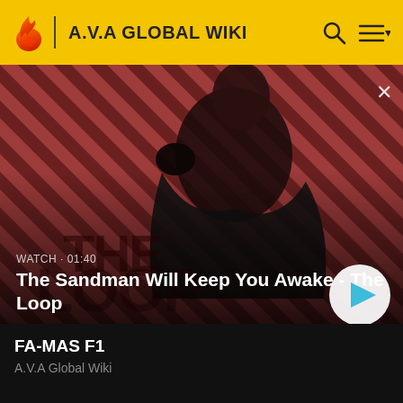A.V.A GLOBAL WIKI
[Figure (screenshot): Video thumbnail showing a dark-clad figure with a raven on shoulder against a red and black diagonal striped background. Text 'THE LOOP' partially visible. Video title: The Sandman Will Keep You Awake - The Loop. Duration label: WATCH · 01:40. Play button visible.]
FA-MAS F1
A.V.A Global Wiki